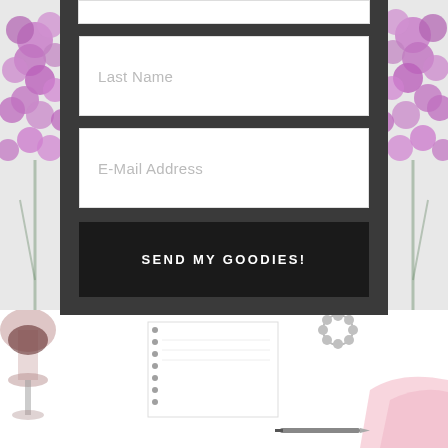[Figure (screenshot): Web form UI with dark gray background panel containing form fields: a partially visible first field (cut off at top), 'Last Name' text input field, 'E-Mail Address' text input field, and a dark 'SEND MY GOODIES!' submit button. The form panel is flanked by purple/lilac flower decorations on both sides. Below the form panel is a lifestyle photo showing a white desk scene with a wine glass, spiral notebook, pearl bracelet, pink fabric, and a pen.]